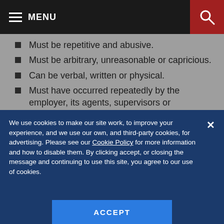MENU
Must be repetitive and abusive.
Must be arbitrary, unreasonable or capricious.
Can be verbal, written or physical.
Must have occurred repeatedly by the employer, its agents, supervisors or employees.
Must be oblivious to the legitimate interests of the company.
Must violate the employee's protected
We use cookies to make our site work, to improve your experience, and we use our own, and third-party cookies, for advertising. Please see our Cookie Policy for more information and how to disable them. By clicking accept, or closing the message and continuing to use this site, you agree to our use of cookies.
ACCEPT